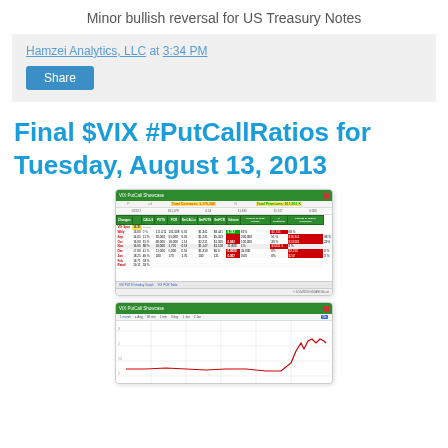Minor bullish reversal for US Treasury Notes
Hamzei Analytics, LLC at 3:34 PM
Share
Final $VIX #PutCallRatios for Tuesday, August 13, 2013
[Figure (screenshot): VIX Put/Call Showcase table showing contracts and premiums data with colored highlights for various VIX options expiries]
[Figure (screenshot): VIX Put/Call Showcase line chart showing price data over time with a red line]